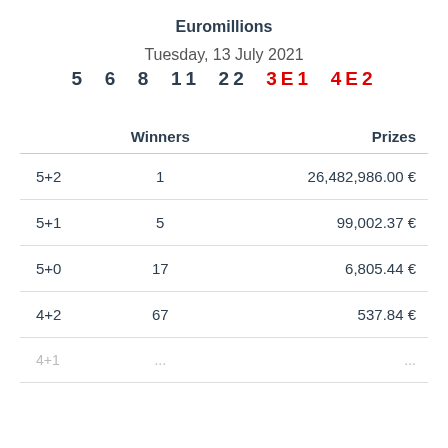Euromillions
Tuesday, 13 July 2021
5  6  8  11  22  3E1  4E2
|  | Winners | Prizes |
| --- | --- | --- |
| 5+2 | 1 | 26,482,986.00 € |
| 5+1 | 5 | 99,002.37 € |
| 5+0 | 17 | 6,805.44 € |
| 4+2 | 67 | 537.84 € |
| 4+1 | ... | ... |